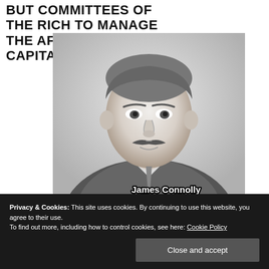BUT COMMITTEES OF THE RICH TO MANAGE THE AFFAIRS OF THE CAPITALIST CLASS."
[Figure (photo): Black and white portrait photograph of James Connolly, a man with a mustache wearing a suit. The name 'James Connolly' appears in white bold text with black outline at the bottom right of the image.]
Privacy & Cookies: This site uses cookies. By continuing to use this website, you agree to their use.
To find out more, including how to control cookies, see here: Cookie Policy
Close and accept